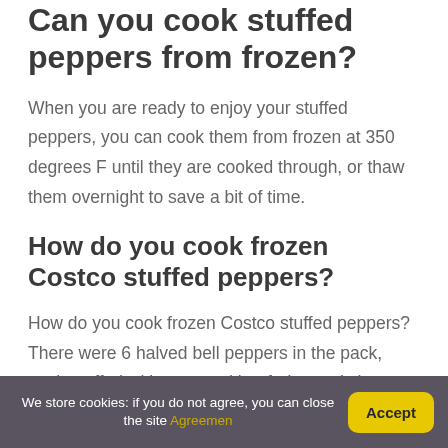Can you cook stuffed peppers from frozen?
When you are ready to enjoy your stuffed peppers, you can cook them from frozen at 350 degrees F until they are cooked through, or thaw them overnight to save a bit of time.
How do you cook frozen Costco stuffed peppers?
How do you cook frozen Costco stuffed peppers? There were 6 halved bell peppers in the pack, each stuffed with a ground beef, rice and cheese mixture. There was additional parmesan cheese sprinkled on
We store cookies: if you do not agree, you can close the site Agreement